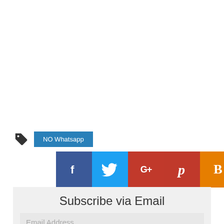NO Whatsapp
[Figure (infographic): Row of social sharing buttons: Facebook (blue), Twitter (light blue), Google+ (red), Pinterest (red), Blogger B (orange), Email (dark gray)]
Subscribe via Email
Email Address..